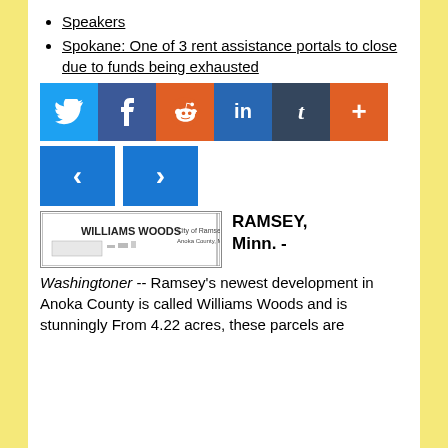Speakers
Spokane: One of 3 rent assistance portals to close due to funds being exhausted
[Figure (infographic): Social media share buttons: Twitter (blue), Facebook (dark blue), Reddit (orange), LinkedIn (blue), Tumblr (dark), More/Plus (orange)]
[Figure (infographic): Navigation arrows: left chevron and right chevron buttons in blue]
[Figure (map): Map document image labeled WILLIAMS WOODS with plot outlines, Ramsey Anoka County MN]
RAMSEY, Minn. -
Washingtoner -- Ramsey's newest development in Anoka County is called Williams Woods and is stunningly From 4.22 acres, these parcels are